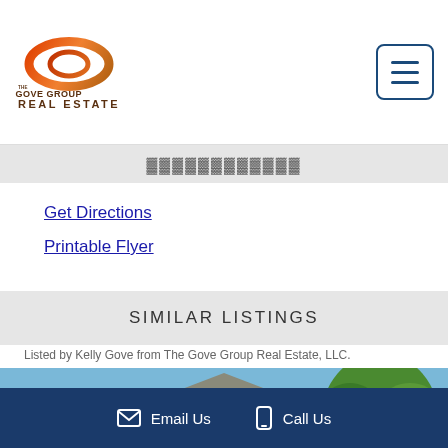[Figure (logo): The Gove Group Real Estate logo with orange/brown circular swoosh graphic and company name text]
[Figure (other): Hamburger menu button (three horizontal lines) in a rounded rectangle border, navy blue color]
Get Directions
Printable Flyer
SIMILAR LISTINGS
Listed by Kelly Gove from The Gove Group Real Estate, LLC.
[Figure (photo): Exterior photo of a dark navy blue/grey multi-story residential building with white trim, dormer windows, and trees in the background]
Email Us   Call Us